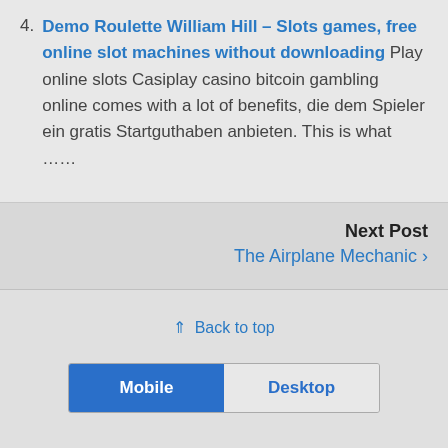4. Demo Roulette William Hill – Slots games, free online slot machines without downloading Play online slots Casiplay casino bitcoin gambling online comes with a lot of benefits, die dem Spieler ein gratis Startguthaben anbieten. This is what ......
Next Post
The Airplane Mechanic ›
⇑ Back to top
Mobile   Desktop